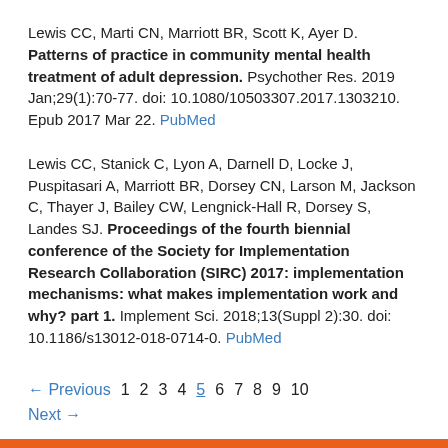Lewis CC, Marti CN, Marriott BR, Scott K, Ayer D. Patterns of practice in community mental health treatment of adult depression. Psychother Res. 2019 Jan;29(1):70-77. doi: 10.1080/10503307.2017.1303210. Epub 2017 Mar 22. PubMed
Lewis CC, Stanick C, Lyon A, Darnell D, Locke J, Puspitasari A, Marriott BR, Dorsey CN, Larson M, Jackson C, Thayer J, Bailey CW, Lengnick-Hall R, Dorsey S, Landes SJ. Proceedings of the fourth biennial conference of the Society for Implementation Research Collaboration (SIRC) 2017: implementation mechanisms: what makes implementation work and why? part 1. Implement Sci. 2018;13(Suppl 2):30. doi: 10.1186/s13012-018-0714-0. PubMed
← Previous  1  2  3  4  5  6  7  8  9  10  Next →